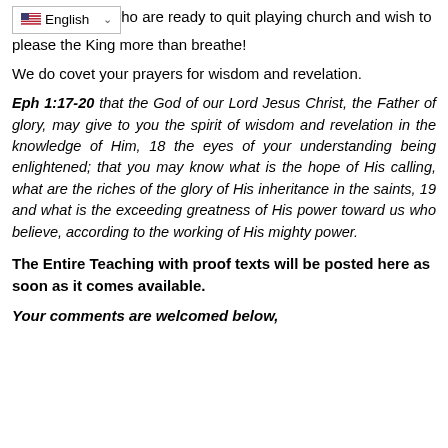now … who are ready to quit playing church and wish to please the King more than breathe!
We do covet your prayers for wisdom and revelation.
Eph 1:17-20 that the God of our Lord Jesus Christ, the Father of glory, may give to you the spirit of wisdom and revelation in the knowledge of Him, 18 the eyes of your understanding being enlightened; that you may know what is the hope of His calling, what are the riches of the glory of His inheritance in the saints, 19 and what is the exceeding greatness of His power toward us who believe, according to the working of His mighty power.
The Entire Teaching with proof texts will be posted here as soon as it comes available.
Your comments are welcomed below,